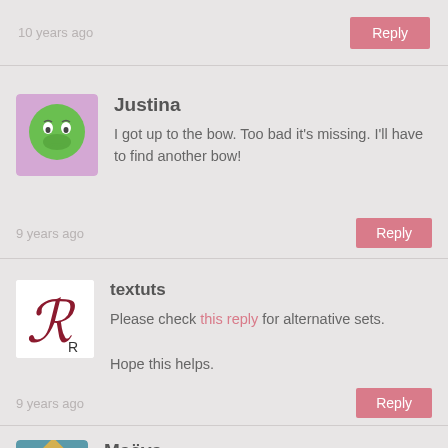10 years ago
Reply
[Figure (illustration): Green cartoon emoji avatar with worried eyes, on purple background]
Justina
I got up to the bow. Too bad it’s missing. I’ll have to find another bow!
9 years ago
Reply
[Figure (logo): Textuts logo: decorative letter R in dark red on white background]
textuts
Please check this reply for alternative sets.
Hope this helps.
9 years ago
Reply
[Figure (illustration): Diamond-shaped cartoon avatar with big eyes on teal background]
Maëva
Thanks so much for all. I love your tutorial, i’m new with